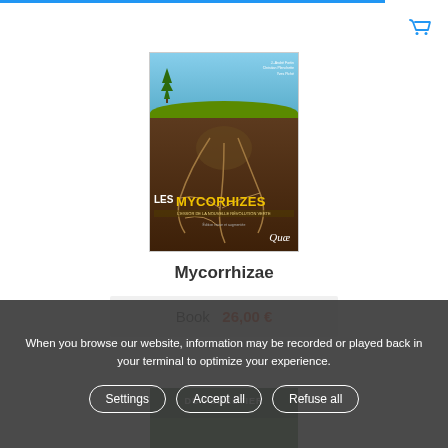[Figure (photo): Book cover of 'Les Mycorhizes' published by Quae, showing a cross-section illustration of soil with green grass on top, a tree, and mycorrhizal roots underground. Authors listed at top right.]
Mycorrhizae
Book  26,00 €
When you browse our website, information may be recorded or played back in your terminal to optimize your experience.
Settings   Accept all   Refuse all